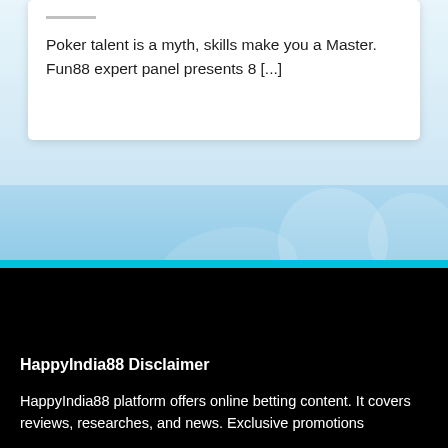Poker talent is a myth, skills make you a Master. Fun88 expert panel presents 8 [...]
[Figure (illustration): Light blue decorative background section with faint white circular and curved shapes, possibly a decorative website banner area]
HappyIndia88 Disclaimer
HappyIndia88 platform offers online betting content. It covers reviews, researches, and news. Exclusive promotions